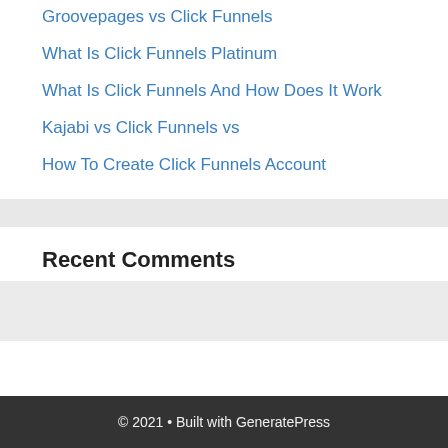Groovepages vs Click Funnels
What Is Click Funnels Platinum
What Is Click Funnels And How Does It Work
Kajabi vs Click Funnels vs
How To Create Click Funnels Account
Recent Comments
© 2021 • Built with GeneratePress